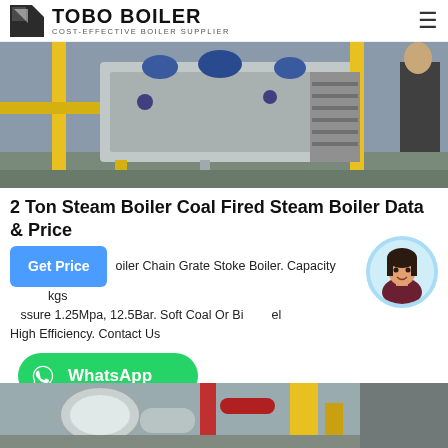TOBO BOILER — COST-EFFECTIVE BOILER SUPPLIER
[Figure (photo): Industrial boiler room with yellow piping, blue machinery, metal staircases, and a worker visible on the right]
2 Ton Steam Boiler Coal Fired Steam Boiler Data & Price
Boiler Chain Grate Stoke Boiler. Capacity kgs Pressure 1.25Mpa, 12.5Bar. Soft Coal Or Bi el High Efficiency. Contact Us
[Figure (photo): Customer service representative avatar in a light blue circular frame with an online indicator dot]
[Figure (logo): WhatsApp button — green rounded rectangle with WhatsApp phone icon and 'WhatsApp' text in white]
[Figure (photo): Bottom partial photo showing industrial boiler equipment with yellow, red, and silver pipes]